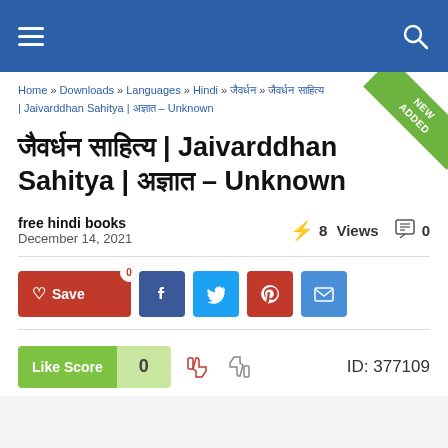Navigation bar with menu and search icons
Home » Downloads » Languages » Hindi » जैवर्धन » जैवर्धन साहित्य | Jaivarddhan Sahitya | अज्ञात – Unknown
जैवर्धन साहित्य | Jaivarddhan Sahitya | अज्ञात – Unknown
free hindi books
December 14, 2021
8 Views   0
Save  Facebook  Twitter  Pinterest  Email share buttons
Like Score  0   ID: 377109